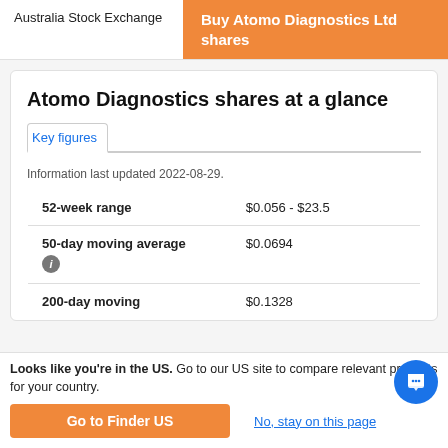Australia Stock Exchange
Buy Atomo Diagnostics Ltd shares
Atomo Diagnostics shares at a glance
Key figures
Information last updated 2022-08-29.
|  |  |
| --- | --- |
| 52-week range | $0.056 - $23.5 |
| 50-day moving average | $0.0694 |
| 200-day moving | $0.1328 |
Looks like you're in the US. Go to our US site to compare relevant products for your country.
Go to Finder US
No, stay on this page